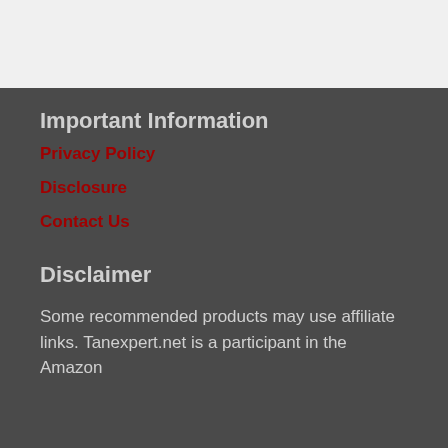Important Information
Privacy Policy
Disclosure
Contact Us
Disclaimer
Some recommended products may use affiliate links. Tanexpert.net is a participant in the Amazon